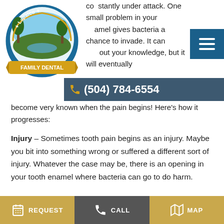Lapalco Family Dental — logo and navigation header with phone number (504) 784-6554
constantly under attack. One small problem in your enamel gives bacteria a chance to invade. It can happen without your knowledge, but it will eventually become very known when the pain begins! Here's how it progresses:
Injury – Sometimes tooth pain begins as an injury. Maybe you bit into something wrong or suffered a different sort of injury. Whatever the case may be, there is an opening in your tooth enamel where bacteria can go to do harm.
Decay – Not all pain is due to an injury. More often than not, pain begins due to untreated decay. Bacteria has already been working on your tooth enamel and is now deep in your tooth. In other words, you have a deep
REQUEST   CALL   MAP